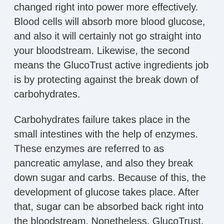changed right into power more effectively. Blood cells will absorb more blood glucose, and also it will certainly not go straight into your bloodstream. Likewise, the second means the GlucoTrust active ingredients job is by protecting against the break down of carbohydrates.
Carbohydrates failure takes place in the small intestines with the help of enzymes. These enzymes are referred to as pancreatic amylase, and also they break down sugar and carbs. Because of this, the development of glucose takes place. After that, sugar can be absorbed back right into the bloodstream. Nonetheless, GlucoTrust, with its active ingredients, avoids that from taking place.